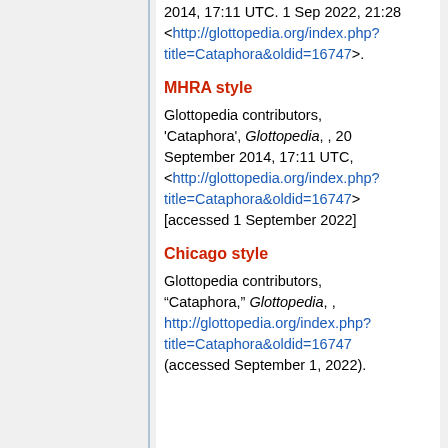2014, 17:11 UTC. 1 Sep 2022, 21:28 <http://glottopedia.org/index.php?title=Cataphora&oldid=16747>.
MHRA style
Glottopedia contributors, 'Cataphora', Glottopedia, , 20 September 2014, 17:11 UTC, <http://glottopedia.org/index.php?title=Cataphora&oldid=16747> [accessed 1 September 2022]
Chicago style
Glottopedia contributors, "Cataphora," Glottopedia, , http://glottopedia.org/index.php?title=Cataphora&oldid=16747 (accessed September 1, 2022).